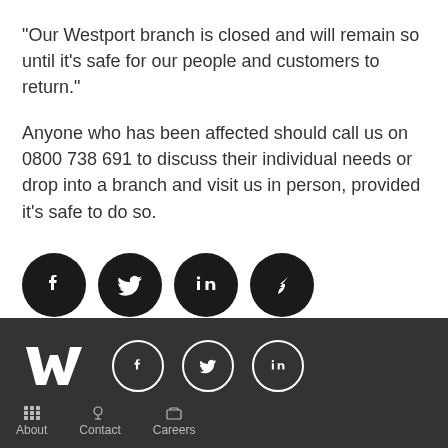“Our Westport branch is closed and will remain so until it’s safe for our people and customers to return.”
Anyone who has been affected should call us on 0800 738 691 to discuss their individual needs or drop into a branch and visit us in person, provided it’s safe to do so.
[Figure (infographic): Four social media share icons (Facebook, Twitter, LinkedIn, Share/forward) as dark circular buttons]
[Figure (logo): Westpac logo (white W mark) with Facebook, Twitter, LinkedIn social icons in footer]
About   Contact   Careers